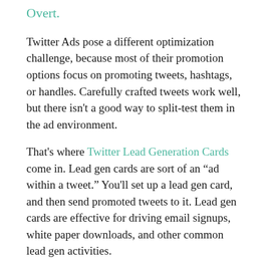Overt.
Twitter Ads pose a different optimization challenge, because most of their promotion options focus on promoting tweets, hashtags, or handles. Carefully crafted tweets work well, but there isn't a good way to split-test them in the ad environment.
That's where Twitter Lead Generation Cards come in. Lead gen cards are sort of an “ad within a tweet.” You'll set up a lead gen card, and then send promoted tweets to it. Lead gen cards are effective for driving email signups, white paper downloads, and other common lead gen activities.
As Drury put it: “Lead gen cards rock for B2B!”
Social PPC Campaign Optimization